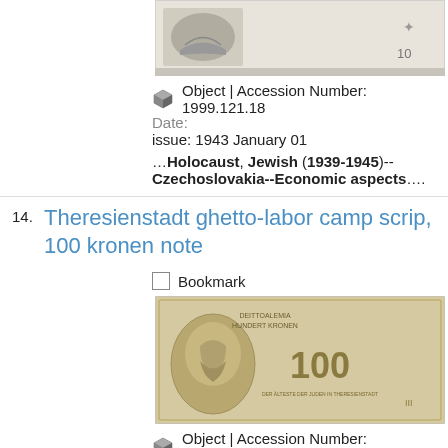[Figure (photo): Partial view of a currency/scrip note, showing bottom portion with decorative elements and '10' denomination]
Object | Accession Number: 1999.121.18
Date:
issue: 1943 January 01
…Holocaust, Jewish (1939-1945)--Czechoslovakia--Economic aspects….
14. Theresienstadt ghetto-labor camp scrip, 100 kronen note
Bookmark
[Figure (photo): Image of a Theresienstadt ghetto-labor camp scrip 100 kronen note, tan/beige colored with a portrait on left side and '100' in center]
Object | Accession Number: 1999.121.29
Date: